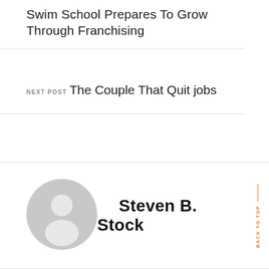Swim School Prepares To Grow Through Franchising
NEXT POST
The Couple That Quit jobs
Steven B. Stock
BACK TO TOP